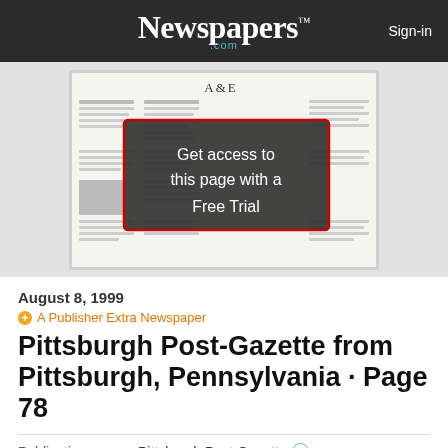Newspapers.com  Sign-in
[Figure (screenshot): Blurred newspaper page preview with 'A&E' section header visible and a dark overlay box reading 'Get access to this page with a Free Trial']
August 8, 1999
A Publisher Extra Newspaper
Pittsburgh Post-Gazette from Pittsburgh, Pennsylvania · Page 78
Publication: Pittsburgh Post-Gazette